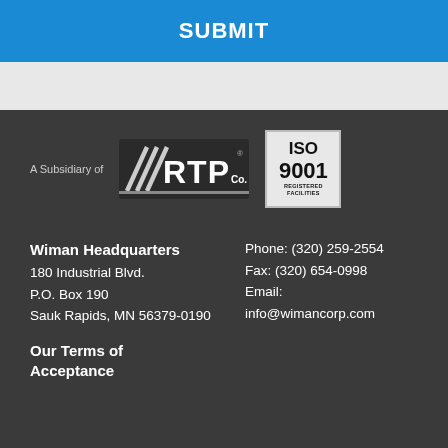SUBMIT
[Figure (logo): RTP Co. logo with diagonal stripes and text RTP, ISO 9001 REGISTERED FACILITIES certification box]
A Subsidiary of
Wiman Headquarters
180 Industrial Blvd.
P.O. Box 190
Sauk Rapids, MN 56379-0190
Phone: (320) 259-2554
Fax: (320) 654-0998
Email:
info@wimancorp.com
Our Terms of Acceptance